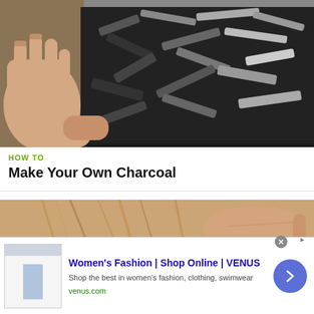[Figure (photo): Hands holding a black container filled with charcoal pieces, shot outdoors in daylight]
HOW TO
Make Your Own Charcoal
[Figure (photo): Close-up of hands holding straw or dry grass material outdoors]
[Figure (other): Advertisement: Women's Fashion | Shop Online | VENUS — Shop the best in women's fashion, clothing, swimwear — venus.com]